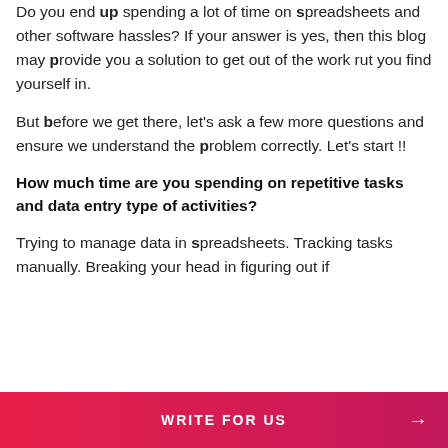Do you end up spending a lot of time on spreadsheets and other software hassles? If your answer is yes, then this blog may provide you a solution to get out of the work rut you find yourself in.
But before we get there, let's ask a few more questions and ensure we understand the problem correctly. Let's start !!
How much time are you spending on repetitive tasks and data entry type of activities?
Trying to manage data in spreadsheets. Tracking tasks manually. Breaking your head in figuring out if
WRITE FOR US →